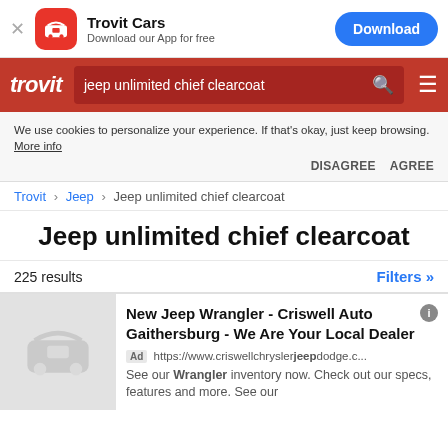[Figure (screenshot): App download banner with Trovit Cars icon, name, tagline and Download button]
[Figure (screenshot): Red navigation bar with trovit logo, search box containing 'jeep unlimited chief clearcoat', search icon and hamburger menu]
We use cookies to personalize your experience. If that's okay, just keep browsing. More info
DISAGREE   AGREE
Trovit > Jeep > Jeep unlimited chief clearcoat
Jeep unlimited chief clearcoat
225 results
Filters »
New Jeep Wrangler - Criswell Auto Gaithersburg - We Are Your Local Dealer
Ad https://www.criswellchryslerJeepdodge.c...
See our Wrangler inventory now. Check out our specs, features and more. See our